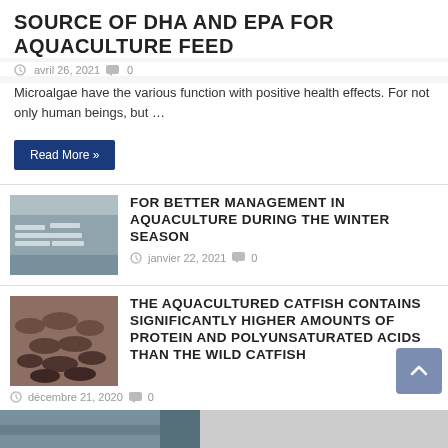SOURCE OF DHA AND EPA FOR AQUACULTURE FEED
avril 26, 2021   0
Microalgae have the various function with positive health effects. For not only human beings, but …
Read More »
[Figure (photo): Aquaculture ponds/tanks in winter setting with floating structures on water]
FOR BETTER MANAGEMENT IN AQUACULTURE DURING THE WINTER SEASON
janvier 22, 2021   0
[Figure (photo): Pile of catfish, densely packed]
THE AQUACULTURED CATFISH CONTAINS SIGNIFICANTLY HIGHER AMOUNTS OF PROTEIN AND POLYUNSATURATED ACIDS THAN THE WILD CATFISH
décembre 21, 2020   0
SCROLLING BLOCK